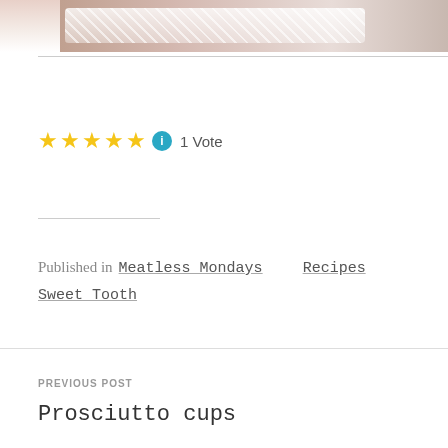[Figure (photo): Top of page showing a cupcake or dessert with red/pink frosting on a doily, partial crop]
★★★★★ ℹ 1 Vote
Published in  Meatless Mondays  Recipes
Sweet Tooth
PREVIOUS POST
Prosciutto cups